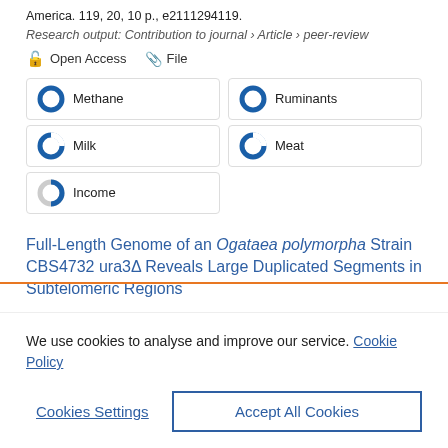America. 119, 20, 10 p., e2111294119.
Research output: Contribution to journal › Article › peer-review
Open Access   File
Methane
Ruminants
Milk
Meat
Income
Full-Length Genome of an Ogataea polymorpha Strain CBS4732 ura3Δ Reveals Large Duplicated Segments in Subtelomeric Regions
We use cookies to analyse and improve our service. Cookie Policy
Cookies Settings
Accept All Cookies